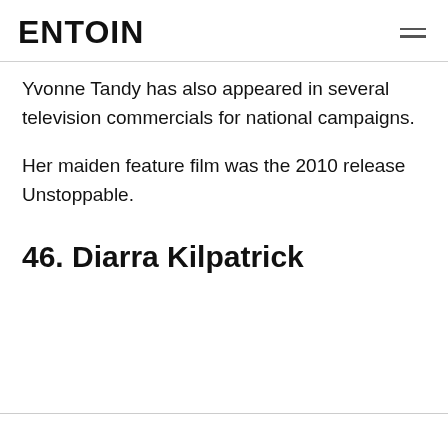ENTOIN
Yvonne Tandy has also appeared in several television commercials for national campaigns.
Her maiden feature film was the 2010 release Unstoppable.
46. Diarra Kilpatrick